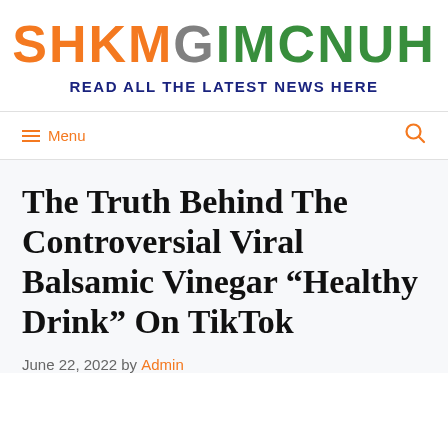[Figure (logo): SHKMGIMCNUH logo in orange and green block letters]
READ ALL THE LATEST NEWS HERE
Menu
The Truth Behind The Controversial Viral Balsamic Vinegar “Healthy Drink” On TikTok
June 22, 2022 by Admin